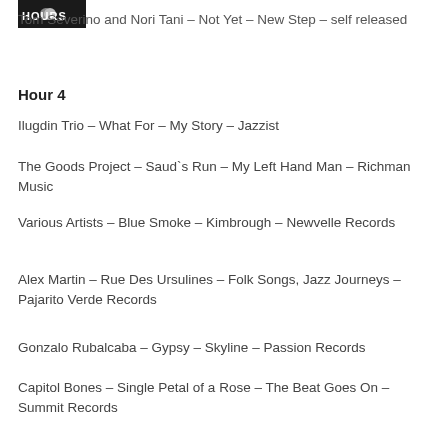[Figure (logo): HOURS logo - white text on black background]
Tom Severino and Nori Tani – Not Yet – New Step – self released
Hour 4
Ilugdin Trio – What For – My Story – Jazzist
The Goods Project – Saud`s Run – My Left Hand Man – Richman Music
Various Artists – Blue Smoke – Kimbrough – Newvelle Records
Alex Martin – Rue Des Ursulines – Folk Songs, Jazz Journeys – Pajarito Verde Records
Gonzalo Rubalcaba – Gypsy – Skyline – Passion Records
Capitol Bones – Single Petal of a Rose – The Beat Goes On – Summit Records